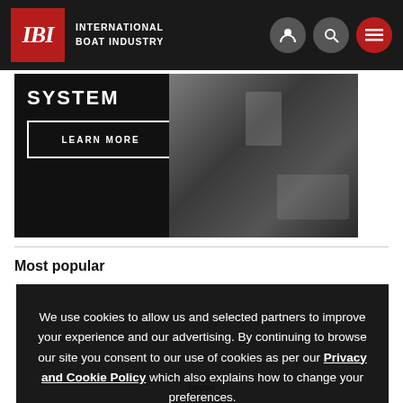IBI INTERNATIONAL BOAT INDUSTRY
[Figure (screenshot): Dark advertisement banner showing 'SYSTEM' text with a LEARN MORE button and images of boats/marina from aerial view]
Most popular
We use cookies to allow us and selected partners to improve your experience and our advertising. By continuing to browse our site you consent to our use of cookies as per our Privacy and Cookie Policy which also explains how to change your preferences.
OK
level